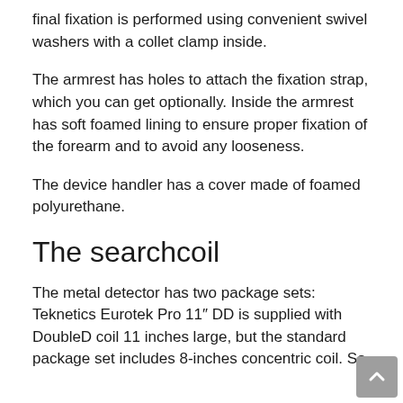final fixation is performed using convenient swivel washers with a collet clamp inside.
The armrest has holes to attach the fixation strap, which you can get optionally. Inside the armrest has soft foamed lining to ensure proper fixation of the forearm and to avoid any looseness.
The device handler has a cover made of foamed polyurethane.
The searchcoil
The metal detector has two package sets: Teknetics Eurotek Pro 11″ DD is supplied with DoubleD coil 11 inches large, but the standard package set includes 8-inches concentric coil. So,